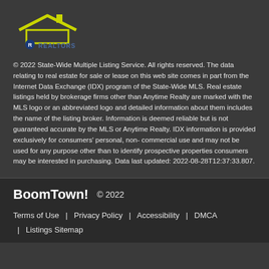[Figure (logo): Anytime Realty / Realtors logo with yellow roof/house icon and 'R REALTORS' text on dark background]
© 2022 State-Wide Multiple Listing Service. All rights reserved. The data relating to real estate for sale or lease on this web site comes in part from the Internet Data Exchange (IDX) program of the State-Wide MLS. Real estate listings held by brokerage firms other than Anytime Realty are marked with the MLS logo or an abbreviated logo and detailed information about them includes the name of the listing broker. Information is deemed reliable but is not guaranteed accurate by the MLS or Anytime Realty. IDX information is provided exclusively for consumers' personal, non-commercial use and may not be used for any purpose other than to identify prospective properties consumers may be interested in purchasing. Data last updated: 2022-08-28T12:37:33.807.
BoomTown! © 2022
Terms of Use | Privacy Policy | Accessibility | DMCA | Listings Sitemap